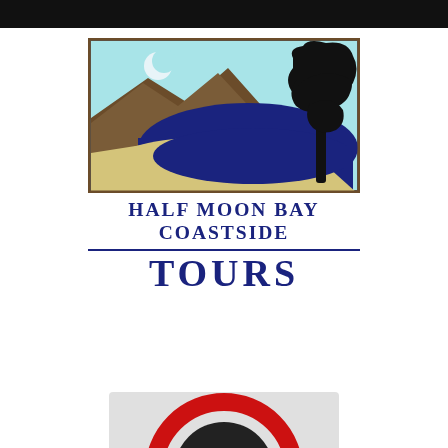[Figure (logo): Half Moon Bay Coastside Tours logo: scenic illustration of a crescent moon over a coastal bay with mountains on the left and a cypress tree silhouette on the right, above bold navy blue text reading HALF MOON BAY COASTSIDE TOURS]
[Figure (logo): Partial view of another circular logo at bottom of page, partially cropped]